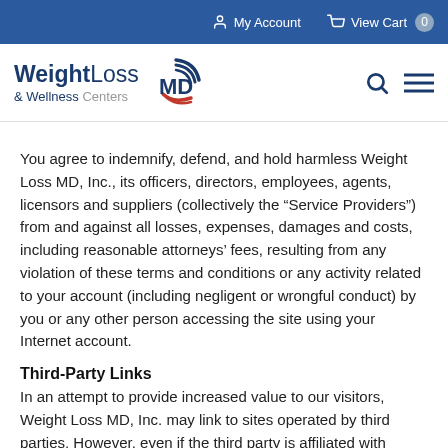My Account   View Cart 0
[Figure (logo): WeightLoss MD & Wellness Centers logo with stylized MD emblem in blue and red]
You agree to indemnify, defend, and hold harmless Weight Loss MD, Inc., its officers, directors, employees, agents, licensors and suppliers (collectively the “Service Providers”) from and against all losses, expenses, damages and costs, including reasonable attorneys’ fees, resulting from any violation of these terms and conditions or any activity related to your account (including negligent or wrongful conduct) by you or any other person accessing the site using your Internet account.
Third-Party Links
In an attempt to provide increased value to our visitors, Weight Loss MD, Inc. may link to sites operated by third parties. However, even if the third party is affiliated with Weight Loss MD, Inc., Weight Loss MD, Inc. has no control